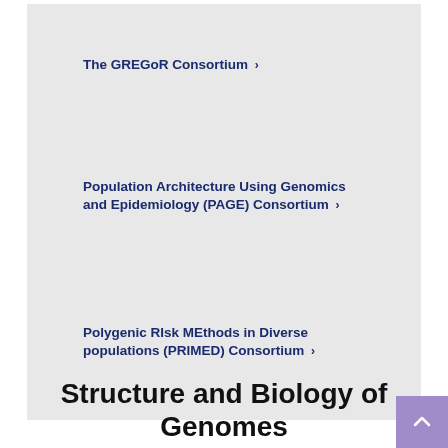The GREGoR Consortium ›
Population Architecture Using Genomics and Epidemiology (PAGE) Consortium ›
Polygenic RIsk MEthods in Diverse populations (PRIMED) Consortium ›
Structure and Biology of Genomes